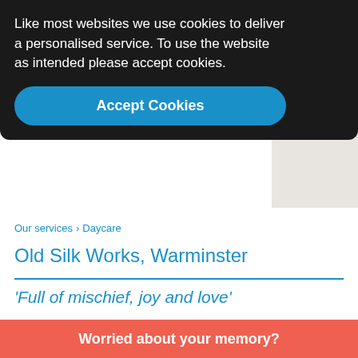Like most websites we use cookies to deliver a personalised service. To use the website as intended please accept cookies.
Accept Cookies
[Figure (other): 10th National Dementia Care Awards Winner badge/logo]
Our services > Daycare
Old Silk Works, Warminster
'Full of mischief, joy and love'
Old Silk Works day club opened in May 2018 after an extraordinary collaboration between the local Warminster community and
Worried about your memory?